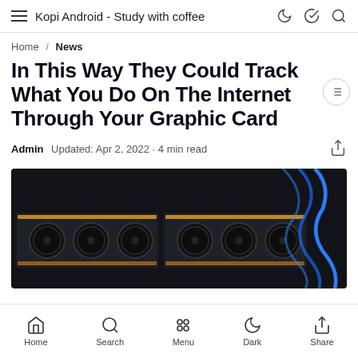Kopi Android - Study with coffee
Home / News
In This Way They Could Track What You Do On The Internet Through Your Graphic Card
Admin  Updated: Apr 2, 2022 · 4 min read
[Figure (photo): Multiple GPU graphics cards with blue LED lighting cables on dark background]
Home  Search  Menu  Dark  Share